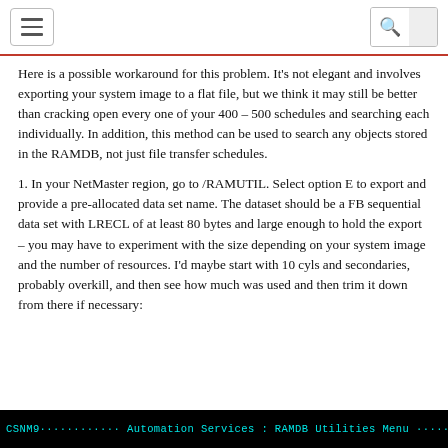[hamburger menu icon] [search icon]
Here is a possible workaround for this problem. It’s not elegant and involves exporting your system image to a flat file, but we think it may still be better than cracking open every one of your 400 – 500 schedules and searching each individually. In addition, this method can be used to search any objects stored in the RAMDB, not just file transfer schedules.
1. In your NetMaster region, go to /RAMUTIL. Select option E to export and provide a pre-allocated data set name. The dataset should be a FB sequential data set with LRECL of at least 80 bytes and large enough to hold the export – you may have to experiment with the size depending on your system image and the number of resources. I’d maybe start with 10 cyls and secondaries, probably overkill, and then see how much was used and then trim it down from there if necessary:
[Figure (screenshot): Terminal/console screenshot showing black background with cyan text: CSNM9------------ Automation Services : RAMDB Utilities Menu ----------/RAMUTIL]